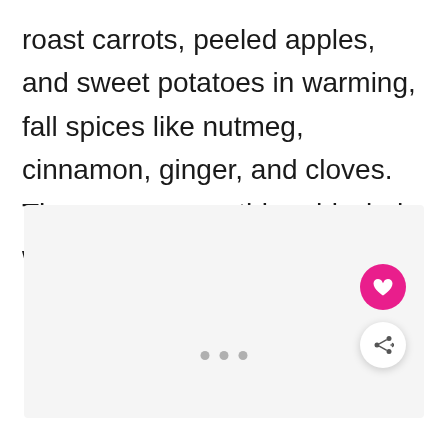roast carrots, peeled apples, and sweet potatoes in warming, fall spices like nutmeg, cinnamon, ginger, and cloves. Then serve everything drizzled with tahini sauce.
[Figure (photo): Image placeholder with light gray background, three gray dots at the bottom center indicating a carousel or loading state, a pink circular heart/favorite button, and a white circular share button in the bottom-right corner.]